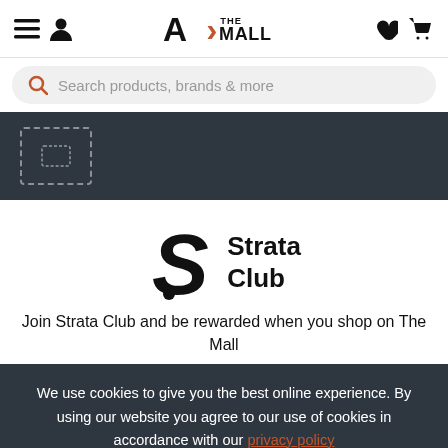The Mall navigation header with hamburger menu, user icon, logo, heart and cart icons
Search products, brands & more
[Figure (screenshot): Dark banner with a dotted rectangle placeholder/image]
[Figure (logo): Strata Club logo with stylized S and text Strata Club]
Join Strata Club and be rewarded when you shop on The Mall
We use cookies to give you the best online experience. By using our website you agree to our use of cookies in accordance with our privacy policy
Continue